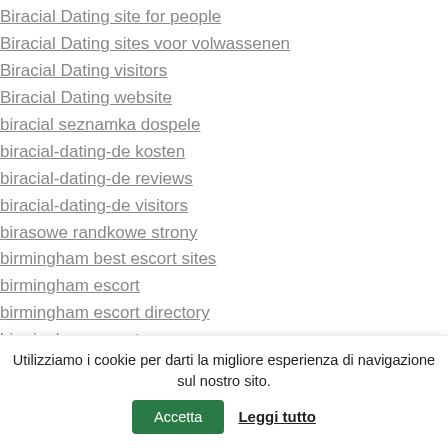Biracial Dating site for people
Biracial Dating sites voor volwassenen
Biracial Dating visitors
Biracial Dating website
biracial seznamka dospele
biracial-dating-de kosten
biracial-dating-de reviews
biracial-dating-de visitors
birasowe randkowe strony
birmingham best escort sites
birmingham escort
birmingham escort directory
birmingham escort porn
birmingham escort radar
birmingham escort service
birmingham escort service companies
Utilizziamo i cookie per darti la migliore esperienza di navigazione sul nostro sito.
Accetta
Leggi tutto